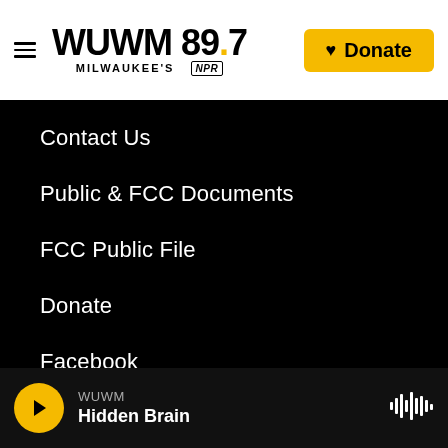WUWM 89.7 Milwaukee's NPR — Donate
Contact Us
Public & FCC Documents
FCC Public File
Donate
Facebook
Twitter
Instagram
WUWM — Hidden Brain